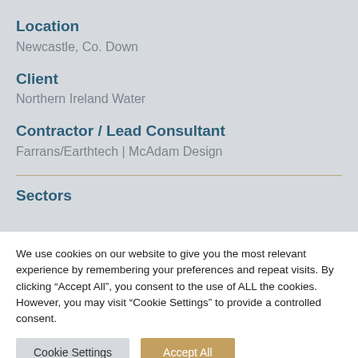Location
Newcastle, Co. Down
Client
Northern Ireland Water
Contractor / Lead Consultant
Farrans/Earthtech | McAdam Design
Sectors
We use cookies on our website to give you the most relevant experience by remembering your preferences and repeat visits. By clicking "Accept All", you consent to the use of ALL the cookies. However, you may visit "Cookie Settings" to provide a controlled consent.